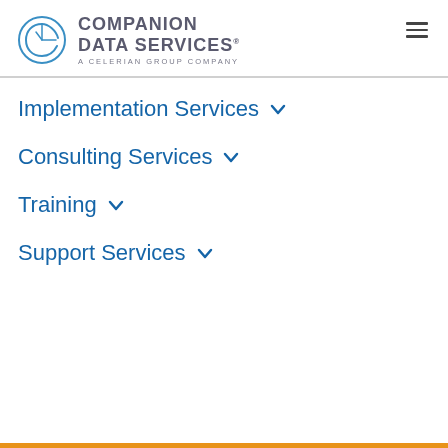[Figure (logo): Companion Data Services logo — circular icon with stylized leaf/C shape in blue outline, beside bold text COMPANION DATA SERVICES with subtitle A CELERIAN GROUP COMPANY]
Implementation Services ▾
Consulting Services ▾
Training ▾
Support Services ▾